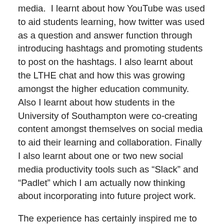media.  I learnt about how YouTube was used to aid students learning, how twitter was used as a question and answer function through introducing hashtags and promoting students to post on the hashtags. I also learnt about the LTHE chat and how this was growing amongst the higher education community. Also I learnt about how students in the University of Southampton were co-creating content amongst themselves on social media to aid their learning and collaboration. Finally I also learnt about one or two new social media productivity tools such as “Slack” and “Padlet” which I am actually now thinking about incorporating into future project work.
The experience has certainly inspired me to use social media for learning and also which social media tools I can adopt in addition to those tools that I am currently using.